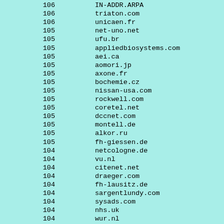| count | domain |
| --- | --- |
| 106 | IN-ADDR.ARPA |
| 106 | triaton.com |
| 106 | unicaen.fr |
| 105 | net-uno.net |
| 105 | ufu.br |
| 105 | appliedbiosystems.com |
| 105 | aei.ca |
| 105 | aomori.jp |
| 105 | axone.fr |
| 105 | bochemie.cz |
| 105 | nissan-usa.com |
| 105 | rockwell.com |
| 105 | coretel.net |
| 105 | dccnet.com |
| 105 | montell.de |
| 105 | alkor.ru |
| 105 | fh-giessen.de |
| 104 | netcologne.de |
| 104 | vu.nl |
| 104 | citenet.net |
| 104 | draeger.com |
| 104 | fh-lausitz.de |
| 104 | sargentlundy.com |
| 104 | sysads.com |
| 104 | nhs.uk |
| 104 | wur.nl |
| 104 | coolsorption.dk |
| 104 | gendyn.com |
| 104 | u-net.net |
| 104 | niu.edu |
| 104 |  |